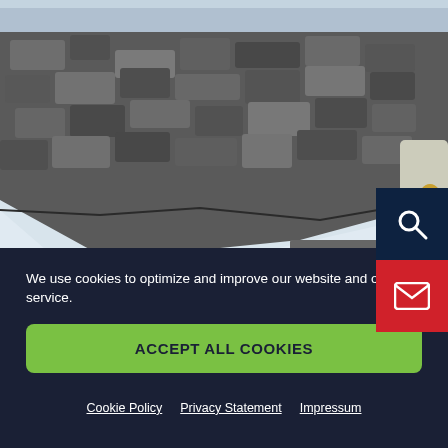[Figure (photo): Outdoor scene with a stone wall and snow on the ground; partially visible figure on the right side with a golden object]
We use cookies to optimize and improve our website and our service.
ACCEPT ALL COOKIES
Cookie Policy   Privacy Statement   Impressum